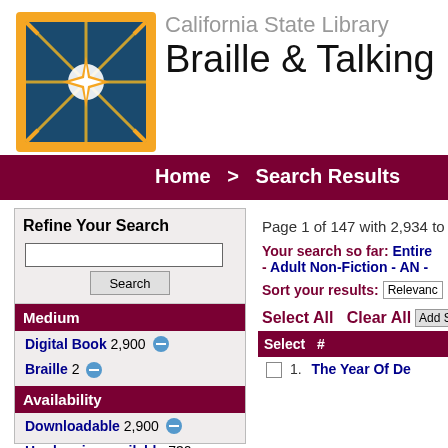[Figure (logo): California State Library star/compass logo — orange border square with dark teal background and gold star/compass rose]
California State Library
Braille & Talking Boo
Home  >  Search Results
Refine Your Search
Medium
Digital Book 2,900 [minus]
Braille 2 [minus]
Availability
Downloadable 2,900 [minus]
Hardcopies available 730
Page 1 of 147 with 2,934 to
Your search so far: Entire - Adult Non-Fiction - AN -
Sort your results: Relevance
Select All Clear All Add Se
| Select | # |
| --- | --- |
| ☐ 1. | The Year Of De |
Roblate D...